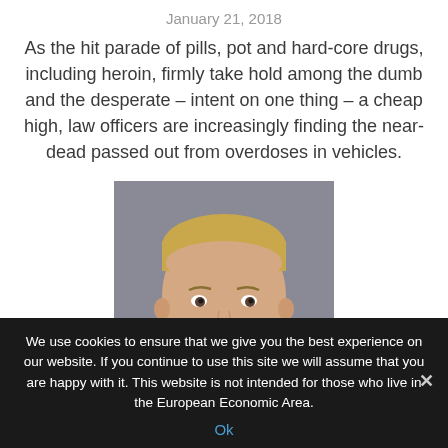January 21, 2018
As the hit parade of pills, pot and hard-core drugs, including heroin, firmly take hold among the dumb and the desperate – intent on one thing – a cheap high, law officers are increasingly finding the near-dead passed out from overdoses in vehicles.
[Figure (photo): Mugshot of a young blond male against a gray background]
We use cookies to ensure that we give you the best experience on our website. If you continue to use this site we will assume that you are happy with it. This website is not intended for those who live in the European Economic Area.
Ok